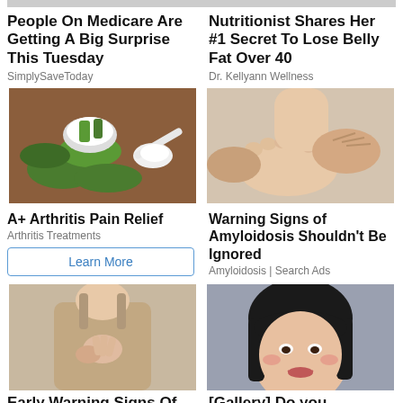[Figure (photo): Cropped top image left - partially visible]
[Figure (photo): Cropped top image right - partially visible]
People On Medicare Are Getting A Big Surprise This Tuesday
SimplySaveToday
Nutritionist Shares Her #1 Secret To Lose Belly Fat Over 40
Dr. Kellyann Wellness
[Figure (photo): Aloe vera slices, bowl of cream, and spoon with salt on wooden table]
[Figure (photo): Hands massaging a foot and ankle]
A+ Arthritis Pain Relief
Arthritis Treatments
Learn More
Warning Signs of Amyloidosis Shouldn't Be Ignored
Amyloidosis | Search Ads
[Figure (photo): Woman in beige tank top touching her chest]
[Figure (photo): Woman with dark hair and makeup smiling]
Early Warning Signs Of
[Gallery] Do you